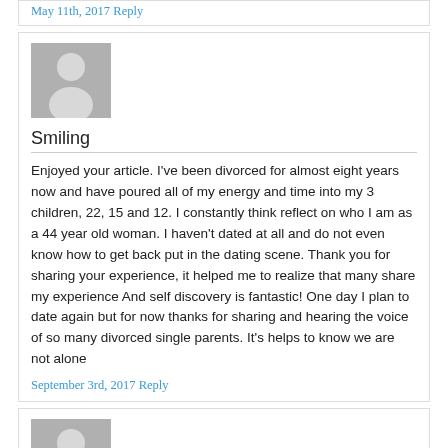May 11th, 2017 Reply
[Figure (illustration): Gray avatar silhouette placeholder image for user 'Smiling']
Smiling
Enjoyed your article. I've been divorced for almost eight years now and have poured all of my energy and time into my 3 children, 22, 15 and 12. I constantly think reflect on who I am as a 44 year old woman. I haven't dated at all and do not even know how to get back put in the dating scene. Thank you for sharing your experience, it helped me to realize that many share my experience And self discovery is fantastic! One day I plan to date again but for now thanks for sharing and hearing the voice of so many divorced single parents. It's helps to know we are not alone
September 3rd, 2017 Reply
[Figure (illustration): Gray avatar silhouette placeholder image for user 'Rosio Lively']
Rosio Lively